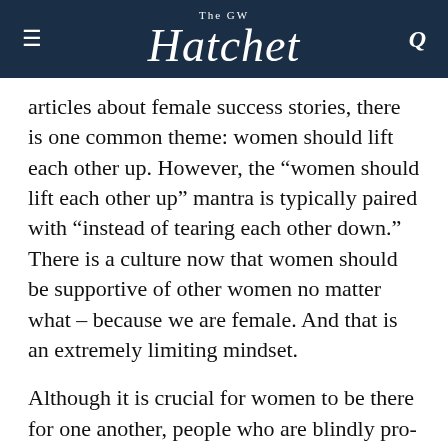The GW Hatchet
articles about female success stories, there is one common theme: women should lift each other up. However, the “women should lift each other up” mantra is typically paired with “instead of tearing each other down.” There is a culture now that women should be supportive of other women no matter what – because we are female. And that is an extremely limiting mindset.
Although it is crucial for women to be there for one another, people who are blindly pro-woman are actually doing a disservice to them by avoiding real constructive criticism and dialogue. If women choose to blindly support